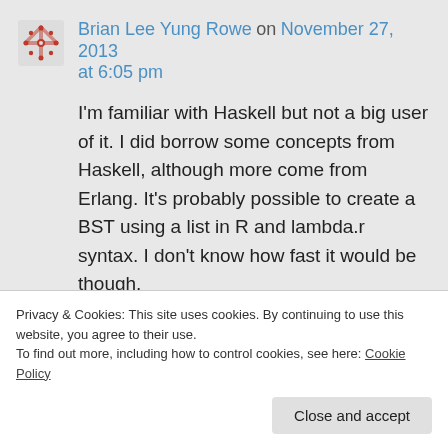Brian Lee Yung Rowe on November 27, 2013 at 6:05 pm
I'm familiar with Haskell but not a big user of it. I did borrow some concepts from Haskell, although more come from Erlang. It's probably possible to create a BST using a list in R and lambda.r syntax. I don't know how fast it would be though.
★ Like
Privacy & Cookies: This site uses cookies. By continuing to use this website, you agree to their use.
To find out more, including how to control cookies, see here: Cookie Policy
Close and accept